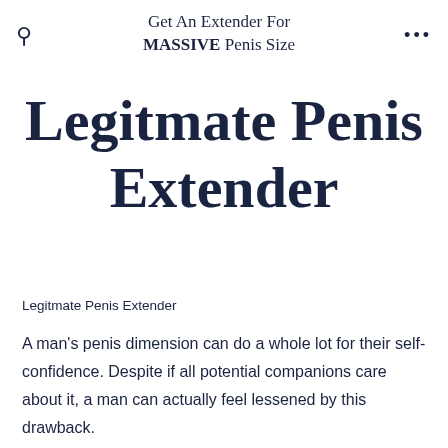Get An Extender For MASSIVE Penis Size
Legitmate Penis Extender
Legitmate Penis Extender
A man's penis dimension can do a whole lot for their self-confidence. Despite if all potential companions care about it, a man can actually feel lessened by this drawback.